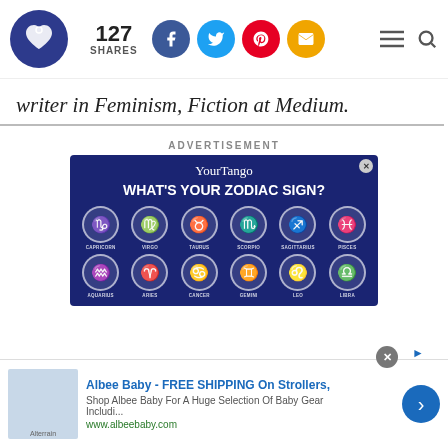[Figure (logo): YourTango logo - dark blue circle with heart icon]
127 SHARES
[Figure (infographic): Social share buttons: Facebook (blue), Twitter (light blue), Pinterest (red), Email (gold)]
writer in Feminism, Fiction at Medium.
ADVERTISEMENT
[Figure (infographic): YourTango advertisement: WHAT'S YOUR ZODIAC SIGN? showing 12 zodiac signs in circles: Capricorn, Virgo, Taurus, Scorpio, Sagittarius, Pisces (top row), Aquarius, Aries, Cancer, Gemini, Leo, Libra (bottom row)]
[Figure (infographic): Bottom advertisement: Albee Baby - FREE SHIPPING On Strollers, Shop Albee Baby For A Huge Selection Of Baby Gear Includi... www.albeebaby.com]